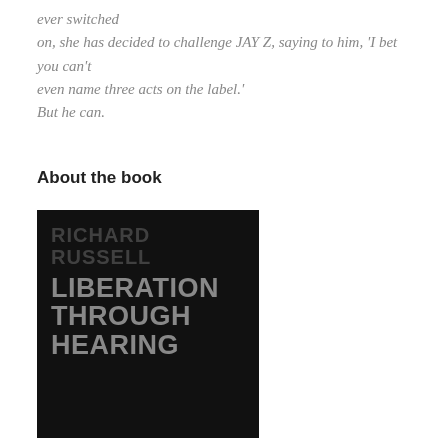ever switched
on, she has decided to challenge JAY Z, saying to him, 'I bet you can't
even name three acts on the label.'
But he can.
About the book
[Figure (photo): Book cover of 'Liberation Through Hearing' by Richard Russell. Black background with author name in dark grey uppercase letters and title in large bold light grey uppercase letters stacked on three lines: LIBERATION / THROUGH / HEARING.]